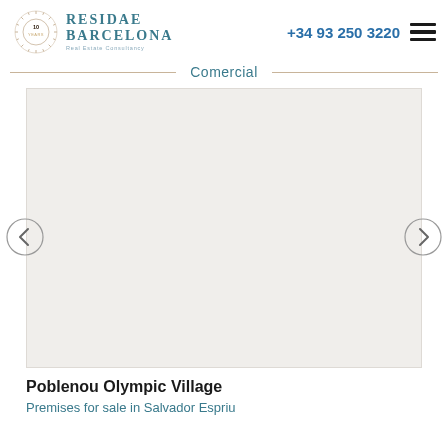Residae Barcelona Real Estate Consultancy | +34 93 250 3220
Comercial
[Figure (photo): Large white/blank property listing image placeholder for Poblenou Olympic Village commercial premises]
Poblenou Olympic Village
Premises for sale in Salvador Espriu